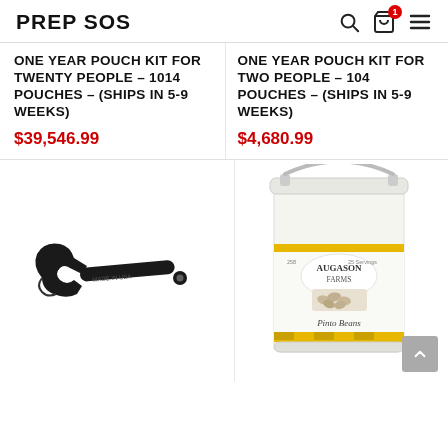PREP SOS
ONE YEAR POUCH KIT FOR TWENTY PEOPLE – 1014 POUCHES – (SHIPS IN 5-9 WEEKS)
$39,546.99
ONE YEAR POUCH KIT FOR TWO PEOPLE – 104 POUCHES – (SHIPS IN 5-9 WEEKS)
$4,680.99
[Figure (photo): Black plastic wrench/spanner tool on white background]
[Figure (photo): Augason Farms white bucket of Pinto Beans with yellow label band]